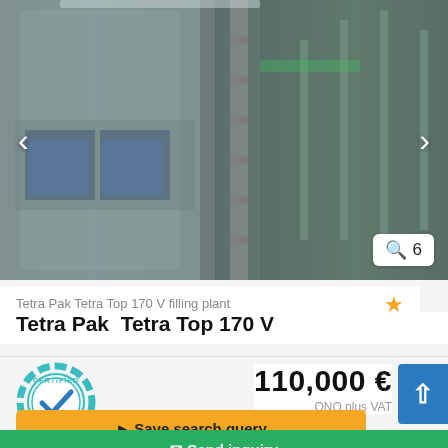[Figure (photo): Industrial filling plant machinery (Tetra Pak Tetra Top 170 V filling plant) shown inside a factory, with navigation arrows and a photo counter badge showing 6.]
Tetra Pak Tetra Top 170 V filling plant
Tetra Pak  Tetra Top 170 V
[Figure (logo): Certified Dealer badge — circular teal gear with checkmark and text CERTIFIED DEALER]
110,000 €
ONO plus VAT
Save search query
Send inquiry